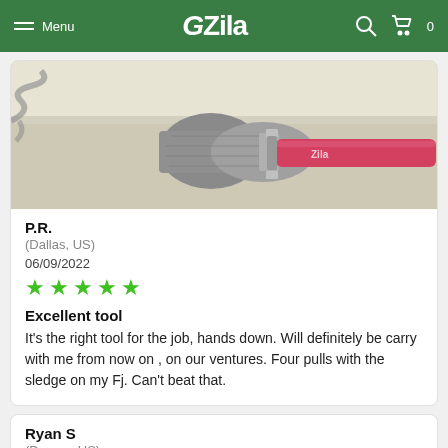Menu | GZila | 0
[Figure (photo): Photo of a Gzila tool resting on a surface, showing the metallic head and red handle with the Zila logo visible.]
P.R.
(Dallas, US)
06/09/2022
★★★★★
Excellent tool
It's the right tool for the job, hands down. Will definitely be carry with me from now on , on our ventures. Four pulls with the sledge on my Fj. Can't beat that.
Ryan S
(Denver, US)